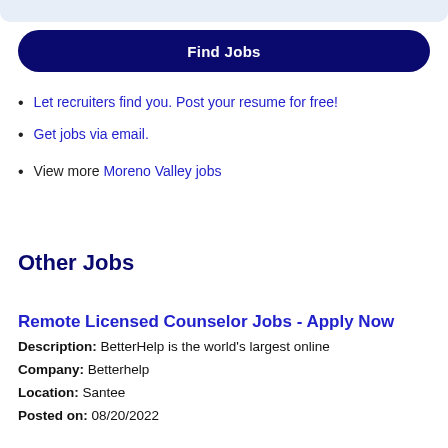[Figure (other): Top rounded light blue/grey bar, partial UI element]
Find Jobs
Let recruiters find you. Post your resume for free!
Get jobs via email.
View more Moreno Valley jobs
Other Jobs
Remote Licensed Counselor Jobs - Apply Now
Description: BetterHelp is the world's largest online
Company: Betterhelp
Location: Santee
Posted on: 08/20/2022